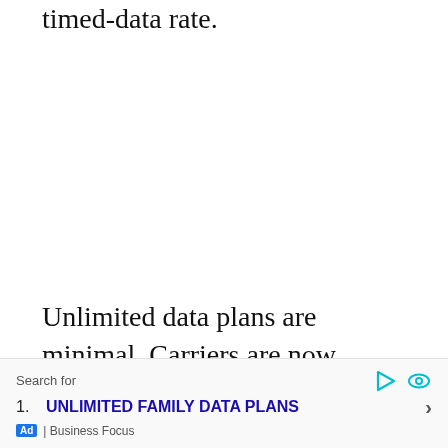timed-data rate.
Unlimited data plans are minimal. Carriers are now implementing data thresholds, which means that you will be forced to take a slowed data
Search for
1. UNLIMITED FAMILY DATA PLANS ›
Ad | Business Focus